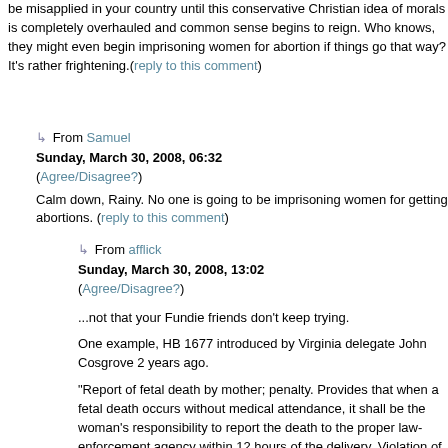be misapplied in your country until this conservative Christian idea of morals is completely overhauled and common sense begins to reign. Who knows, they might even begin imprisoning women for abortion if things go that way? It's rather frightening.(reply to this comment)
↳ From Samuel
Sunday, March 30, 2008, 06:32
(Agree/Disagree?)
Calm down, Rainy. No one is going to be imprisoning women for getting abortions. (reply to this comment)
↳ From afflick
Sunday, March 30, 2008, 13:02
(Agree/Disagree?)

...not that your Fundie friends don't keep trying.

One example, HB 1677 introduced by Virginia delegate John Cosgrove 2 years ago.

"Report of fetal death by mother; penalty. Provides that when a fetal death occurs without medical attendance, it shall be the woman's responsibility to report the death to the proper law-enforcement agency within 12 hours of the delivery. Violation of this section shall be punishable as a Class 1 misdemeanor."

Since then, there have been a handful of other attempts but the idea of jailing women for abortions is wildly unpopular. Anti-choice politicians generally prefer the more popular tactic of jailing abortion providers. (reply to this comment)